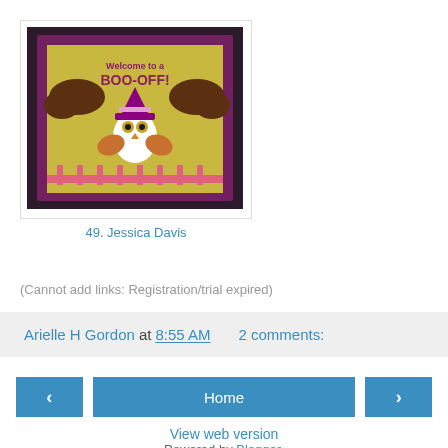[Figure (photo): Thumbnail image of a handmade Halloween-themed card with an owl wearing a witch hat, purple border, yellow background with pink fence, framed in dark purple. Labeled '49. Jessica Davis' below.]
49. Jessica Davis
(Cannot add links: Registration/trial expired)
Arielle H Gordon at 8:55 AM   2 comments:
Home
View web version
Powered by Blogger.